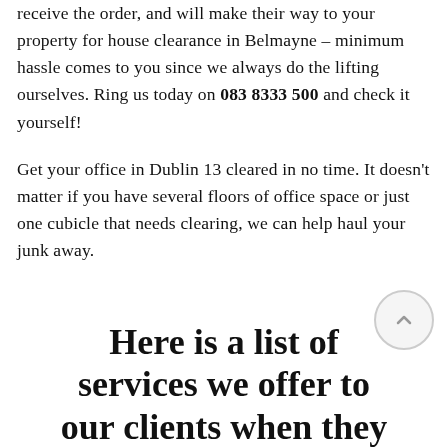receive the order, and will make their way to your property for house clearance in Belmayne – minimum hassle comes to you since we always do the lifting ourselves. Ring us today on 083 8333 500 and check it yourself!
Get your office in Dublin 13 cleared in no time. It doesn't matter if you have several floors of office space or just one cubicle that needs clearing, we can help haul your junk away.
Here is a list of services we offer to our clients when they